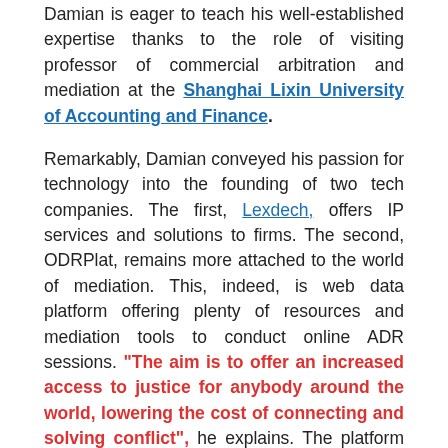Damian is eager to teach his well-established expertise thanks to the role of visiting professor of commercial arbitration and mediation at the Shanghai Lixin University of Accounting and Finance.
Remarkably, Damian conveyed his passion for technology into the founding of two tech companies. The first, Lexdech, offers IP services and solutions to firms. The second, ODRPlat, remains more attached to the world of mediation. This, indeed, is web data platform offering plenty of resources and mediation tools to conduct online ADR sessions. "The aim is to offer an increased access to justice for anybody around the world, lowering the cost of connecting and solving conflict", he explains. The platform is designed to assist practitioners in their performance of remote mediation sessions, and it is particularly aimed to be used in those countries where the